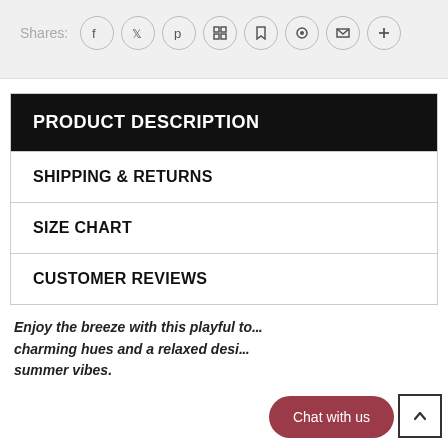Shares:
[Figure (other): Social share icons: Facebook, Twitter, Pinterest, Grid/App, Bookmark, Circle/Target, Mail, Plus]
PRODUCT DESCRIPTION
SHIPPING & RETURNS
SIZE CHART
CUSTOMER REVIEWS
Enjoy the breeze with this playful to... charming hues and a relaxed desi... summer vibes.
[Figure (other): Chat with us button (dark red pill shape) and back-to-top arrow button]